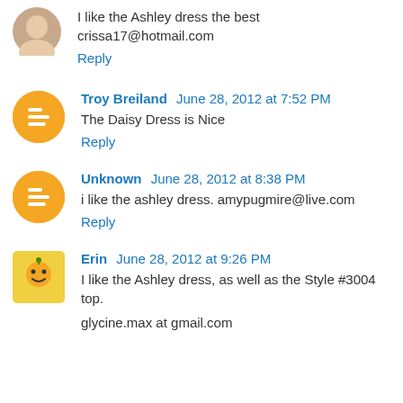[Figure (photo): Small circular avatar of a person (woman), top of page, partially cropped]
I like the Ashley dress the best
crissa17@hotmail.com
Reply
[Figure (illustration): Orange circular Blogger icon with white B logo]
Troy Breiland  June 28, 2012 at 7:52 PM
The Daisy Dress is Nice
Reply
[Figure (illustration): Orange circular Blogger icon with white B logo]
Unknown  June 28, 2012 at 8:38 PM
i like the ashley dress. amypugmire@live.com
Reply
[Figure (illustration): Square yellow avatar with orange cartoon face (Erin)]
Erin  June 28, 2012 at 9:26 PM
I like the Ashley dress, as well as the Style #3004 top.
glycine.max at gmail.com